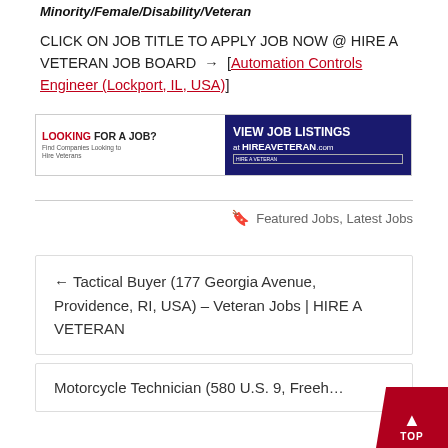Minority/Female/Disability/Veteran
CLICK ON JOB TITLE TO APPLY JOB NOW @ HIRE A VETERAN JOB BOARD → [Automation Controls Engineer (Lockport, IL, USA)]
[Figure (other): Banner advertisement: LOOKING FOR A JOB? Find Companies Looking to Hire Veterans — VIEW JOB LISTINGS at HIREAVETERAN.com]
Featured Jobs, Latest Jobs
← Tactical Buyer (177 Georgia Avenue, Providence, RI, USA) – Veteran Jobs | HIRE A VETERAN
Motorcycle Technician (580 U.S. 9, Freeh...